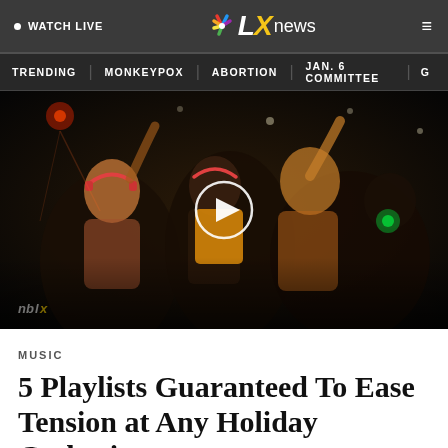WATCH LIVE  |  NBC LX news
TRENDING  MONKEYPOX  ABORTION  JAN. 6 COMMITTEE  G
[Figure (photo): People dancing at a nighttime outdoor event wearing headphones, with colorful lights in the background. A play button overlay is visible in the center.]
MUSIC
5 Playlists Guaranteed To Ease Tension at Any Holiday Gathering